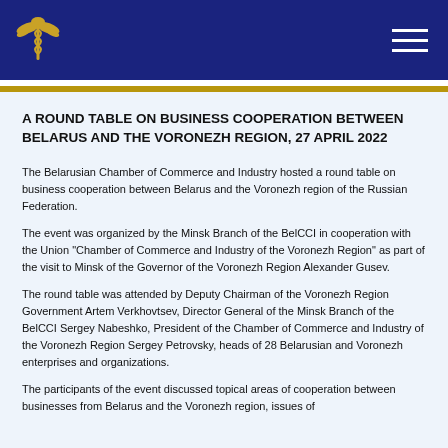Belarusian Chamber of Commerce and Industry — Navigation header
A ROUND TABLE ON BUSINESS COOPERATION BETWEEN BELARUS AND THE VORONEZH REGION, 27 APRIL 2022
The Belarusian Chamber of Commerce and Industry hosted a round table on business cooperation between Belarus and the Voronezh region of the Russian Federation.
The event was organized by the Minsk Branch of the BelCCI in cooperation with the Union "Chamber of Commerce and Industry of the Voronezh Region" as part of the visit to Minsk of the Governor of the Voronezh Region Alexander Gusev.
The round table was attended by Deputy Chairman of the Voronezh Region Government Artem Verkhovtsev, Director General of the Minsk Branch of the BelCCI Sergey Nabeshko, President of the Chamber of Commerce and Industry of the Voronezh Region Sergey Petrovsky, heads of 28 Belarusian and Voronezh enterprises and organizations.
The participants of the event discussed topical areas of cooperation between businesses from Belarus and the Voronezh region, issues of